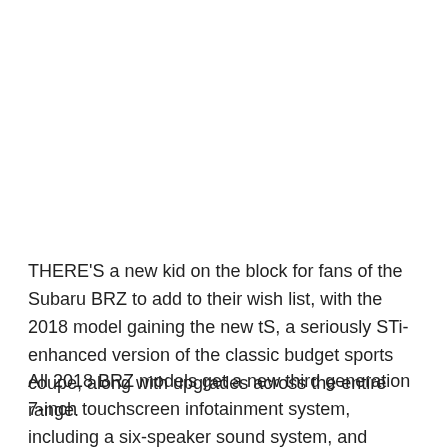THERE'S a new kid on the block for fans of the Subaru BRZ to add to their wish list, with the 2018 model gaining the new tS, a seriously STi-enhanced version of the classic budget sports coupe, along with upgrades across the entire range.
All 2018 BRZ models get a new third generation 7-inch touchscreen infotainment system, including a six-speaker sound system, and satellite navigation with Apple CarPlay